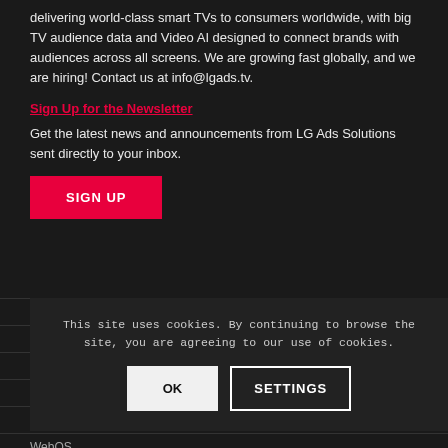delivering world-class smart TVs to consumers worldwide, with big TV audience data and Video AI designed to connect brands with audiences across all screens. We are growing fast globally, and we are hiring! Contact us at info@lgads.tv.
Sign Up for the Newsletter
Get the latest news and announcements from LG Ads Solutions sent directly to your inbox.
SIGN UP
Media Solutions
Media & Streaming TV
Consumer Brands
Guaranteed Outcomes
TV Data
WebOS
This site uses cookies. By continuing to browse the site, you are agreeing to our use of cookies.